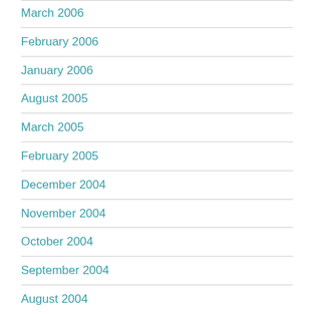March 2006
February 2006
January 2006
August 2005
March 2005
February 2005
December 2004
November 2004
October 2004
September 2004
August 2004